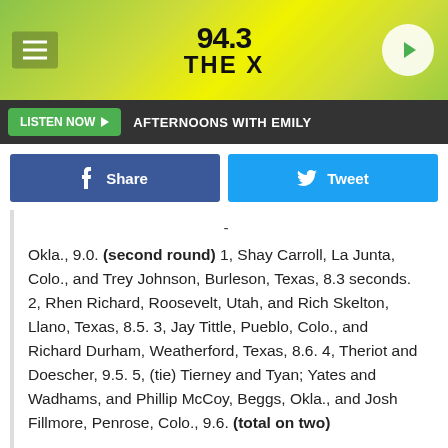[Figure (logo): 94.3 The X radio station header banner with yellow-green gradient background, hamburger menu icon on left, station logo in center, play button on right]
LISTEN NOW ▶  AFTERNOONS WITH EMILY
Share  Tweet
- Okla., 9.0. (second round) 1, Shay Carroll, La Junta, Colo., and Trey Johnson, Burleson, Texas, 8.3 seconds. 2, Rhen Richard, Roosevelt, Utah, and Rich Skelton, Llano, Texas, 8.5. 3, Jay Tittle, Pueblo, Colo., and Richard Durham, Weatherford, Texas, 8.6. 4, Theriot and Doescher, 9.5. 5, (tie) Tierney and Tyan; Yates and Wadhams, and Phillip McCoy, Beggs, Okla., and Josh Fillmore, Penrose, Colo., 9.6. (total on two) 1, Tierney and Tyon, 16.9 seconds. 2, Yates and